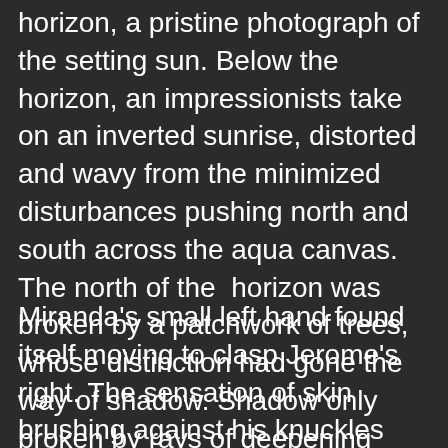horizon, a pristine photograph of the setting sun. Below the horizon, an impressionists take on an inverted sunrise, distorted and wavy from the minimized disturbances pushing north and south across the aqua canvas.  The north of the  horizon was broken by a patchwork of trees, whose distinction had gone the way of shadow. Shadow only broken by rays of deepening  orange.
Miranda's small left hand found itself moving to clasp Jerome's right. The sensation of skin brushing against his knuckles caused him to turn his head toward the source. His eyes met hers, and the fading sun had all but disappeared. The concentric circles of white, tan, and black was all Jerome could see. The black circles enlarged, as if